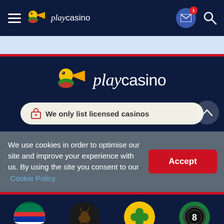playcasino navigation bar with hamburger menu, logo, mail icon with badge 1, and search icon
[Figure (screenshot): PlayCasino website screenshot showing navigation bar, logo, cookie consent banner, and bottom navigation icons]
We use cookies in order to optimise our site and improve your experience with us. By using the site you consent to our Cookie Policy.
Accept
We only list licensed casinos
Online Casino
R500 Free
No Deposit Bonus
Free Spins